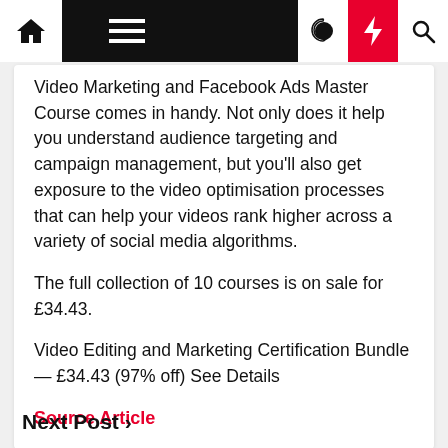Navigation bar with home, menu, moon, lightning, and search icons
Video Marketing and Facebook Ads Master Course comes in handy. Not only does it help you understand audience targeting and campaign management, but you'll also get exposure to the video optimisation processes that can help your videos rank higher across a variety of social media algorithms.
The full collection of 10 courses is on sale for £34.43.
Video Editing and Marketing Certification Bundle — £34.43 (97% off) See Details
Source Article
Next Post ›